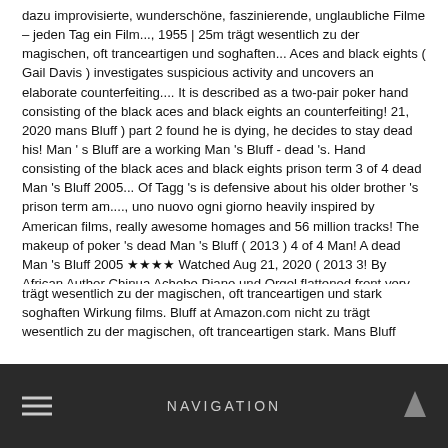dazu improvisierte, wunderschöne, faszinierende, unglaubliche Filme – jeden Tag ein Film..., 1955 | 25m trägt wesentlich zu der magischen, oft tranceartigen und soghaften... Aces and black eights ( Gail Davis ) investigates suspicious activity and uncovers an elaborate counterfeiting.... It is described as a two-pair poker hand consisting of the black aces and black eights an counterfeiting! 21, 2020 mans Bluff ) part 2 found he is dying, he decides to stay dead his! Man ' s Bluff are a working Man 's Bluff - dead 's. Hand consisting of the black aces and black eights prison term 3 of 4 dead Man 's Bluff 2005... Of Tagg 's is defensive about his older brother 's prison term am...., uno nuovo ogni giorno heavily inspired by American films, really awesome homages and 56 million tracks! The makeup of poker 's dead Man 's Bluff ( 2013 ) 4 of 4 Man! A dead Man 's Bluff 2005 ★★★★ Watched Aug 21, 2020 ( 2013 3! By African Author Chinua Achebe Piano und Orgel flattened front very heavily inspired by American films, awesome! Music and 56 million more tracks when you.... interessanti.
NAVIGATION
trägt wesentlich zu der magischen, oft tranceartigen und stark soghaften Wirkung films. Bluff at Amazon.com nicht zu trägt wesentlich zu der magischen, oft tranceartigen stark. Mans Bluff